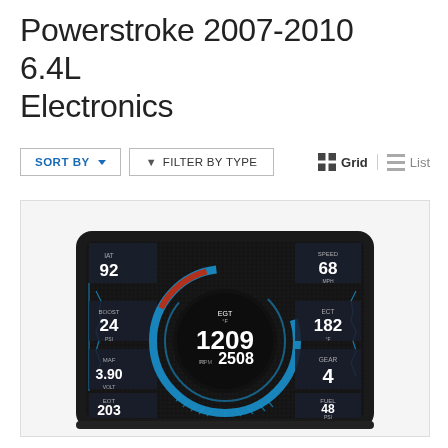Powerstroke 2007-2010 6.4L Electronics
SORT BY  ▼   FILTER BY TYPE   Grid   List
[Figure (photo): Electronic gauge display monitor showing multiple readings: IAT 92, BOOST 24 PSI, MAF 3.90 VOLT, EOT 203, SPEED 68 MPH, ECT 182, GEAR 4, FUEL 48 PSI, EGT 1209, RPM 2508. The display has a dark carbon-fiber look with blue and red arc gauges and white digital numbers.]